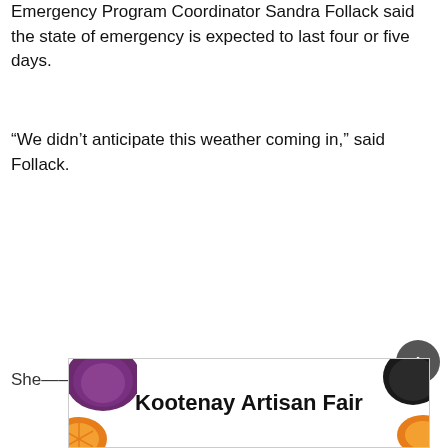Emergency Program Coordinator Sandra Follack said the state of emergency is expected to last four or five days.
“We didn’t anticipate this weather coming in,” said Follack.
She said it that the conditions had forced Fri...
[Figure (other): Advertisement banner for Kootenay Artisan Fair with decorative vegetable/food imagery on left and right sides]